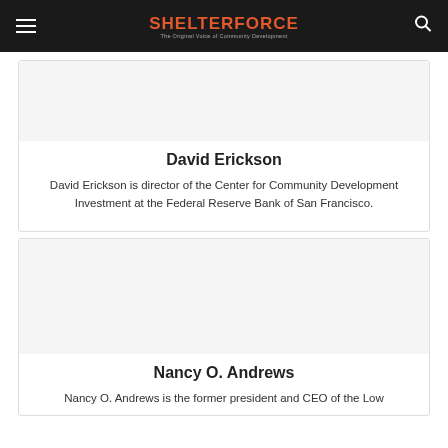SHELTERFORCE — The Original Voice of Community Development
David Erickson
David Erickson is director of the Center for Community Development Investment at the Federal Reserve Bank of San Francisco.
Nancy O. Andrews
Nancy O. Andrews is the former president and CEO of the Low